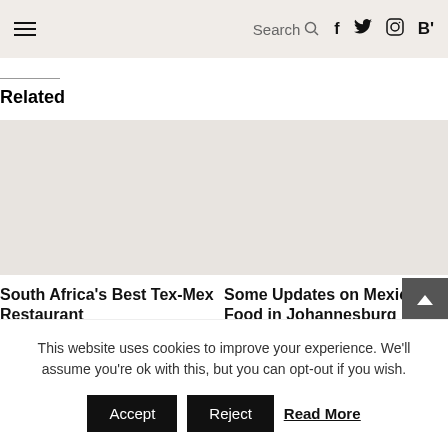Search   f   t   Instagram   B'
Related
South Africa's Best Tex-Mex Restaurant
September 30, 2019
In "Food and Drink"
Some Updates on Mexican Food in Johannesburg
March 24, 2016
In "Food and Drink"
This website uses cookies to improve your experience. We'll assume you're ok with this, but you can opt-out if you wish.
Accept   Reject   Read More